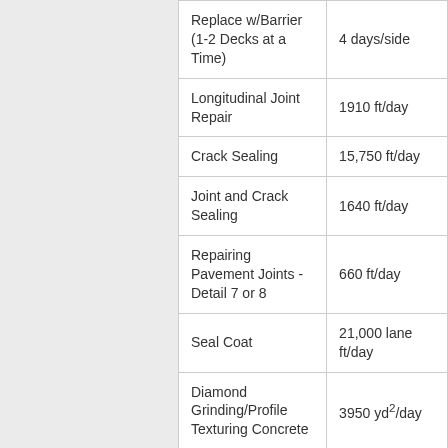| Activity | Production Rate |
| --- | --- |
| Replace w/Barrier (1-2 Decks at a Time) | 4 days/side |
| Longitudinal Joint Repair | 1910 ft/day |
| Crack Sealing | 15,750 ft/day |
| Joint and Crack Sealing | 1640 ft/day |
| Repairing Pavement Joints - Detail 7 or 8 | 660 ft/day |
| Seal Coat | 21,000 lane ft/day |
| Diamond Grinding/Profile Texturing Concrete | 3950 yd²/day |